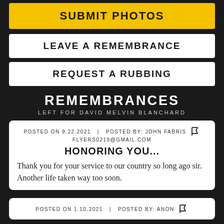SUBMIT PHOTOS
LEAVE A REMEMBRANCE
REQUEST A RUBBING
REMEMBRANCES
LEFT FOR DAVID MELVIN BLANCHARD
POSTED ON 9.22.2021  |  POSTED BY: JOHN FABRIS  FLYERS0219@GMAIL.COM
HONORING YOU...
Thank you for your service to our country so long ago sir. Another life taken way too soon.
POSTED ON 1.10.2021  |  POSTED BY: ANON